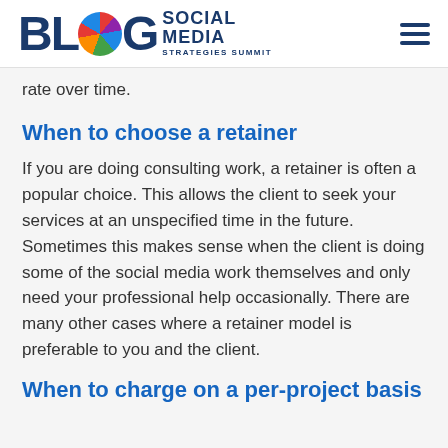BLOG SOCIAL MEDIA STRATEGIES SUMMIT
rate over time.
When to choose a retainer
If you are doing consulting work, a retainer is often a popular choice. This allows the client to seek your services at an unspecified time in the future. Sometimes this makes sense when the client is doing some of the social media work themselves and only need your professional help occasionally. There are many other cases where a retainer model is preferable to you and the client.
When to charge on a per-project basis